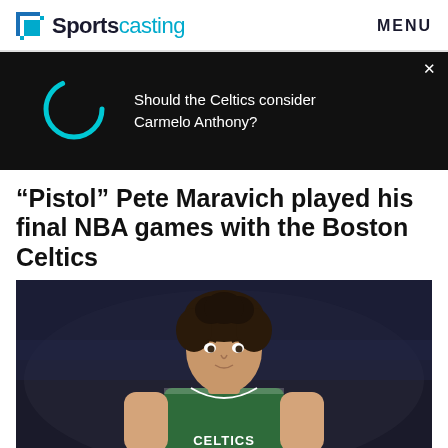Sportscasting  MENU
[Figure (screenshot): Dark ad banner with loading spinner on left and text 'Should the Celtics consider Carmelo Anthony?' on right, with X close button]
“Pistol” Pete Maravich played his final NBA games with the Boston Celtics
[Figure (photo): Photo of Pete Maravich in a Boston Celtics green jersey with 'CELTICS' visible, curly dark hair, looking forward, dark blurred background]